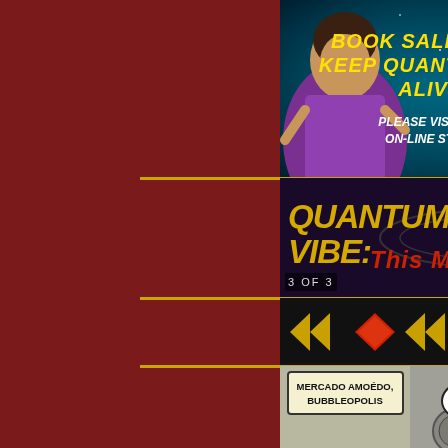[Figure (illustration): Comic webcomic page advertisement and strip. Top banner ad with teal starfield background showing two female characters flanking text 'BOOK SALES HELP KEEP QUANTUM VIBE ALIVE! PLEASE VISIT OUR ON-LINE STORE!'. Below is the Quantum Vibe: This Means War title banner with stylized logo text and 'By Scott Bieser' attribution, page labeled '3 OF 3'. Navigation bar with colored diamond arrows (red, green, blue). Comic panel showing Mercado Amoedo, Bubbleopolis location caption with speech bubbles: 'WITH THE LOCKDOWN, THIS PLACE IS REALLY CREEPY, SARGE.' and 'ARE Y'SURE'. Page has dark red border/background.]